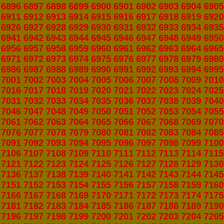Sequential number grid from 6896 to approximately 7223+, arranged in rows of 15 numbers each, red bold text on dark olive/brown background